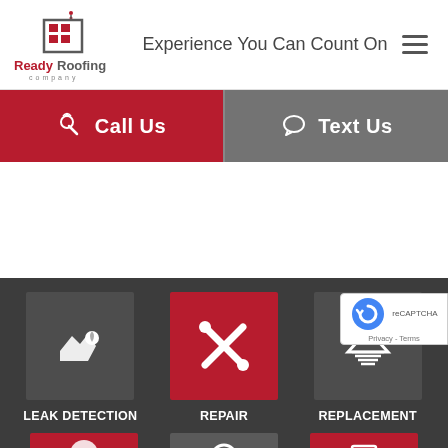[Figure (logo): Ready Roofing Company logo with house/building icon in dark red and gray]
Experience You Can Count On
Call Us
Text Us
[Figure (infographic): Three service icons on dark gray background: Leak Detection (water drop on hand), Repair (crossed tools on red), Replacement (roof layers). Bottom row shows three more partially visible service icons.]
LEAK DETECTION
REPAIR
REPLACEMENT